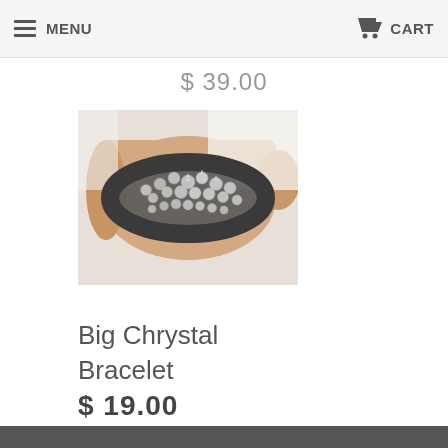MENU   CART
$ 39.00
[Figure (photo): A person's wrist wearing a large crystal/rhinestone bracelet, silver-toned stones on a dark metal base, photographed against a white background.]
Big Chrystal Bracelet
$ 19.00